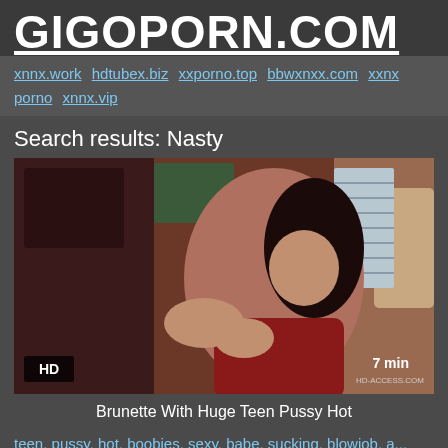GIGOPORN.COM
xnnx.work hdtubex.biz xxporno.top bbwxnxx.com xxnx porno xnnx.vip
Search results: Nasty
[Figure (photo): Thumbnail of adult video showing brunette woman, HD badge bottom left, 7 min duration and HD-ACCESS.COM watermark bottom right]
Brunette With Huge Teen Pussy Hot
teen, pussy, hot, boobies, sexy, babe, sucking, blowjob, a...